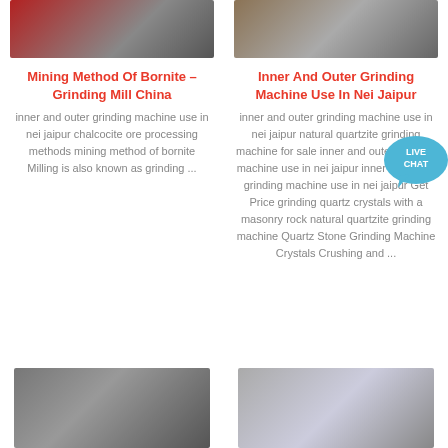[Figure (photo): Industrial grinding machine equipment, red metal structure]
[Figure (photo): Industrial conveyor with rocks/ore]
Mining Method Of Bornite – Grinding Mill China
Inner And Outer Grinding Machine Use In Nei Jaipur
inner and outer grinding machine use in nei jaipur chalcocite ore processing methods mining method of bornite Milling is also known as grinding ...
inner and outer grinding machine use in nei jaipur natural quartzite grinding machine for sale inner and outer grinding machine use in nei jaipur inner and outer grinding machine use in nei jaipur Get Price grinding quartz crystals with a masonry rock natural quartzite grinding machine Quartz Stone Grinding Machine Crystals Crushing and ...
[Figure (photo): Industrial silo or vertical cylindrical structure inside a factory]
[Figure (photo): Industrial conveyor belt structure against cloudy sky]